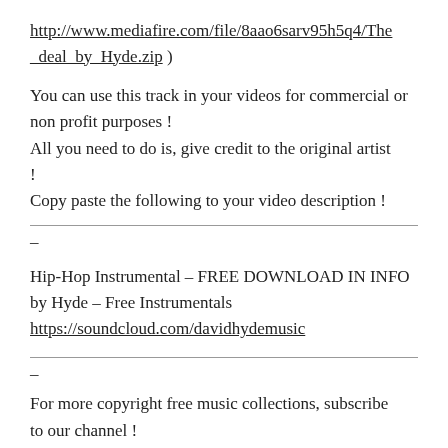http://www.mediafire.com/file/8aao6sarv95h5q4/The_deal_by_Hyde.zip )
You can use this track in your videos for commercial or non profit purposes !
All you need to do is, give credit to the original artist !
Copy paste the following to your video description !
–
Hip-Hop Instrumental – FREE DOWNLOAD IN INFO
by Hyde – Free Instrumentals
https://soundcloud.com/davidhydemusic
–
For more copyright free music collections, subscribe to our channel !